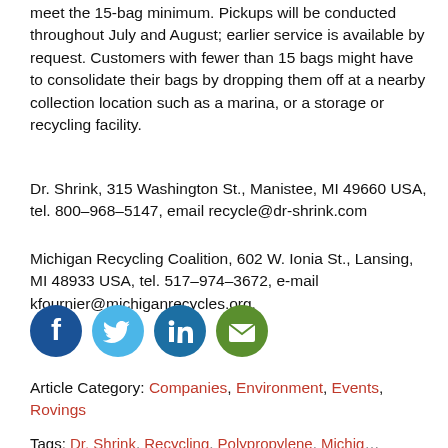meet the 15-bag minimum. Pickups will be conducted throughout July and August; earlier service is available by request. Customers with fewer than 15 bags might have to consolidate their bags by dropping them off at a nearby collection location such as a marina, or a storage or recycling facility.
Dr. Shrink, 315 Washington St., Manistee, MI 49660 USA, tel. 800–968–5147, email recycle@dr-shrink.com
Michigan Recycling Coalition, 602 W. Ionia St., Lansing, MI 48933 USA, tel. 517–974–3672, e-mail kfournier@michiganrecycles.org.
[Figure (infographic): Social media icons: Facebook (blue), Twitter (light blue), LinkedIn (blue), Email (green)]
Article Category: Companies, Environment, Events, Rovings
Tags: Dr. Shrink, Recycling, Polypropylene, Michigan